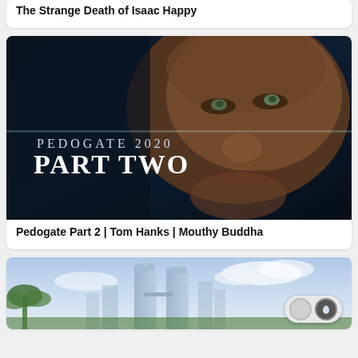The Strange Death of Isaac Happy
[Figure (photo): Dark cinematic image of a man's face close-up with text overlay reading 'PEDOGATE 2020 PART TWO']
Pedogate Part 2 | Tom Hanks | Mouthy Buddha
[Figure (photo): Partial view of a city skyline with tall towers and palm trees, with a dark mode toggle button in the bottom right corner]